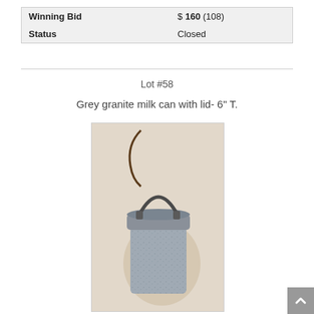| Winning Bid | $ 160 (108) |
| Status | Closed |
Lot #58
Grey granite milk can with lid- 6" T.
[Figure (photo): Grey granite milk can with a metal handle and lid, approximately 6 inches tall, photographed against a light background.]